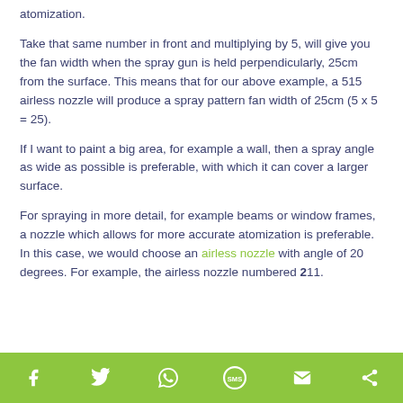atomization.
Take that same number in front and multiplying by 5, will give you the fan width when the spray gun is held perpendicularly, 25cm from the surface. This means that for our above example, a 515 airless nozzle will produce a spray pattern fan width of 25cm (5 x 5 = 25).
If I want to paint a big area, for example a wall, then a spray angle as wide as possible is preferable, with which it can cover a larger surface.
For spraying in more detail, for example beams or window frames, a nozzle which allows for more accurate atomization is preferable. In this case, we would choose an airless nozzle with angle of 20 degrees. For example, the airless nozzle numbered 211.
Social share icons: Facebook, Twitter, WhatsApp, SMS, Email, Share